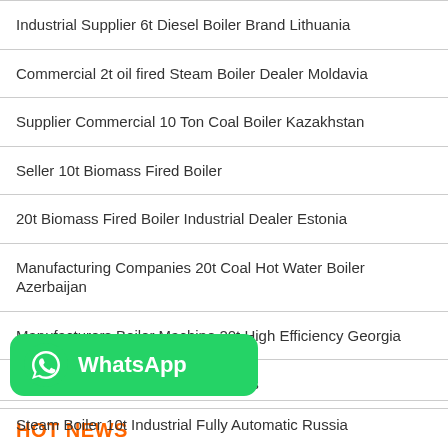Industrial Supplier 6t Diesel Boiler Brand Lithuania
Commercial 2t oil fired Steam Boiler Dealer Moldavia
Supplier Commercial 10 Ton Coal Boiler Kazakhstan
Seller 10t Biomass Fired Boiler
20t Biomass Fired Boiler Industrial Dealer Estonia
Manufacturing Companies 20t Coal Hot Water Boiler Azerbaijan
Manufacturers Boiler Machine 20t High Efficiency Georgia
1t Biomass Hot Water Boiler Belarus
HOT NEWS
[Figure (logo): WhatsApp logo button with green background]
Steam Boiler 10t Industrial Fully Automatic Russia
10 Ton Gas Steam Boiler Best Selling Latvia